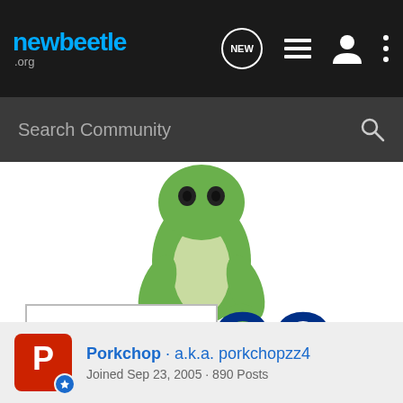newbeetle.org
Search Community
[Figure (logo): GEICO insurance advertisement featuring the GEICO gecko mascot (green lizard) above the GEICO logo in large dark blue letters with registered trademark symbol, and a GET QUOTE button below]
Porkchop · a.k.a. porkchopzz4
Joined Sep 23, 2005 · 890 Posts